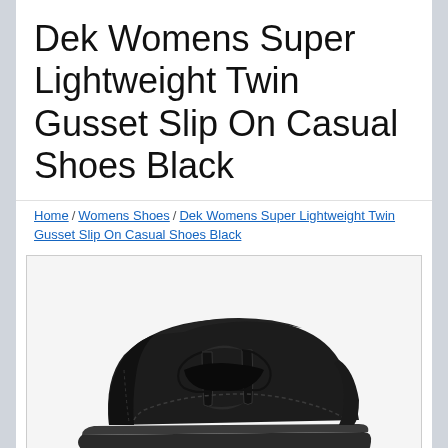Dek Womens Super Lightweight Twin Gusset Slip On Casual Shoes Black
Home / Womens Shoes / Dek Womens Super Lightweight Twin Gusset Slip On Casual Shoes Black
[Figure (photo): A black women's slip-on casual shoe with twin gusset, shown in side profile against a light background. The shoe has a chunky lightweight sole and smooth upper.]